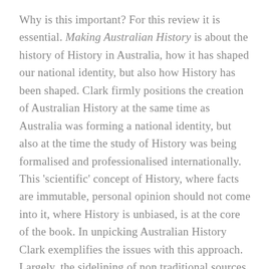Why is this important? For this review it is essential. Making Australian History is about the history of History in Australia, how it has shaped our national identity, but also how History has been shaped. Clark firmly positions the creation of Australian History at the same time as Australia was forming a national identity, but also at the time the study of History was being formalised and professionalised internationally. This 'scientific' concept of History, where facts are immutable, personal opinion should not come into it, where History is unbiased, is at the core of the book. In unpicking Australian History Clark exemplifies the issues with this approach. Largely, the sidelining of non traditional sources including: oral history, First Nations history (through oral history and art work amongst other sources), family histories, local histories, non professional histories, fiction (including